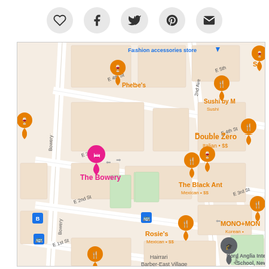[Figure (screenshot): Social sharing toolbar with heart/favorite, Facebook, Twitter, Pinterest, and email icons as circular gray buttons]
[Figure (map): Google Maps screenshot showing East Village, New York City neighborhood with orange restaurant/bar pins marking: Phebe's, Double Zero (Italian $$), Sushi by M (Sushi), The Black Ant (Mexican $$), MONO+MON (Korean), Rosie's (Mexican $$), and a pink hotel pin for The Bowery. Street names visible include E 4th St, E 3rd St, E 2nd St, E 1st St, Bowery, 2nd Ave. Also shows Nord Anglia International School New York and Hairrari Barber-East Village. Blue bus stop icons visible. Fashion accessories store label at top.]